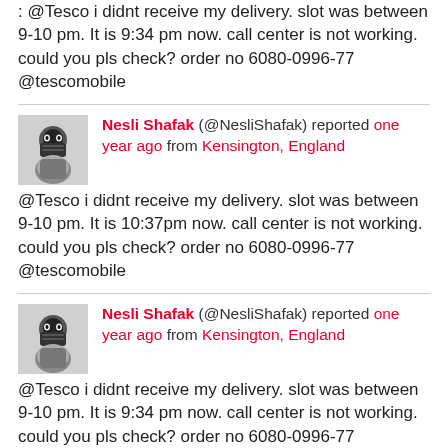: @Tesco I didn't receive my delivery. slot was between 9-10 pm. It is 9:34 pm now. call center is not working. could you pls check? order no 6080-0996-77 @tescomobile
Nesli Shafak (@NesliShafak) reported one year ago from Kensington, England
@Tesco i didnt receive my delivery. slot was between 9-10 pm. It is 10:37pm now. call center is not working. could you pls check? order no 6080-0996-77 @tescomobile
Nesli Shafak (@NesliShafak) reported one year ago from Kensington, England
@Tesco i didnt receive my delivery. slot was between 9-10 pm. It is 9:34 pm now. call center is not working. could you pls check? order no 6080-0996-77 @tescomobile